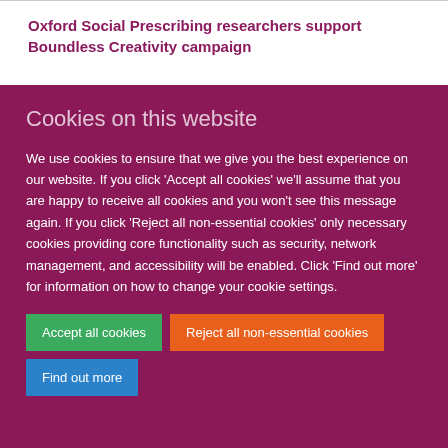Oxford Social Prescribing researchers support Boundless Creativity campaign
Cookies on this website
We use cookies to ensure that we give you the best experience on our website. If you click 'Accept all cookies' we'll assume that you are happy to receive all cookies and you won't see this message again. If you click 'Reject all non-essential cookies' only necessary cookies providing core functionality such as security, network management, and accessibility will be enabled. Click 'Find out more' for information on how to change your cookie settings.